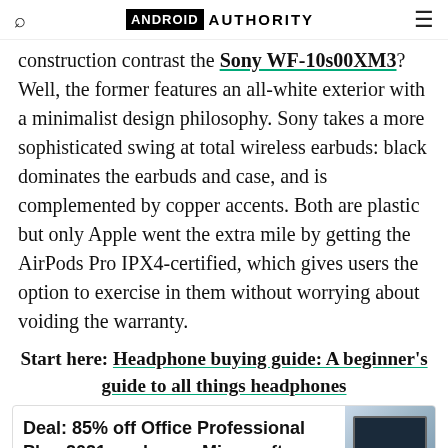ANDROID AUTHORITY
construction contrast the Sony WF-10s00XM3? Well, the former features an all-white exterior with a minimalist design philosophy. Sony takes a more sophisticated swing at total wireless earbuds: black dominates the earbuds and case, and is complemented by copper accents. Both are plastic but only Apple went the extra mile by getting the AirPods Pro IPX4-certified, which gives users the option to exercise in them without worrying about voiding the warranty.
Start here: Headphone buying guide: A beginner's guide to all things headphones
Deal: 85% off Office Professional Plus 2021, and more Microsoft Office deals